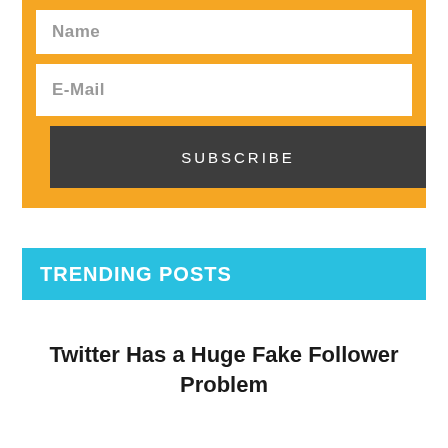[Figure (screenshot): Orange subscription form widget with Name and E-Mail input fields and a dark Subscribe button]
TRENDING POSTS
Twitter Has a Huge Fake Follower Problem